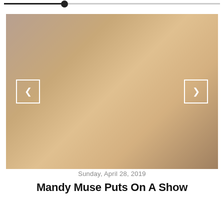[Figure (other): Progress/scrubber bar with filled portion and thumb indicator]
[Figure (photo): Photograph with left and right navigation arrow buttons overlaid]
Sunday, April 28, 2019
Mandy Muse Puts On A Show